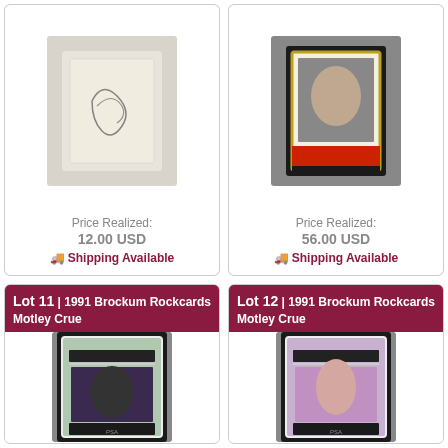[Figure (photo): Autographed card or paper in a graded slab]
Price Realized: 12.00 USD
Shipping Available
[Figure (photo): 1991 Brockum Rockcards Motley Crue trading card in graded slab]
Price Realized: 56.00 USD
Shipping Available
Lot 11 | 1991 Brockum Rockcards Motley Crue
[Figure (photo): 1991 Brockum Rockcards Motley Crue graded card in PSA slab]
Price Realized:
Lot 12 | 1991 Brockum Rockcards Motley Crue
[Figure (photo): 1991 Brockum Rockcards Motley Crue graded card in PSA slab]
Price Realized: